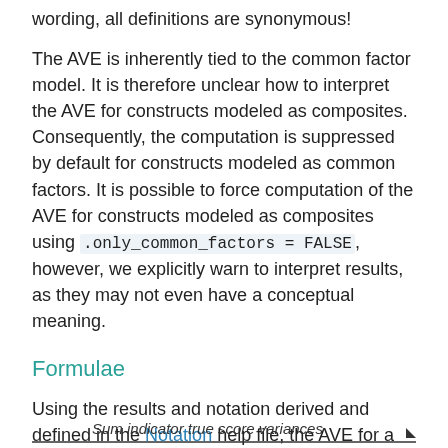wording, all definitions are synonymous!
The AVE is inherently tied to the common factor model. It is therefore unclear how to interpret the AVE for constructs modeled as composites. Consequently, the computation is suppressed by default for constructs modeled as common factors. It is possible to force computation of the AVE for constructs modeled as composites using .only_common_factors = FALSE, however, we explicitly warn to interpret results, as they may not even have a conceptual meaning.
Formulae
Using the results and notation derived and defined in the Notation help file, the AVE for a generic construct is:
[Figure (math-figure): Partial formula: Sum indicator true score variances (fraction, cut off at bottom)]